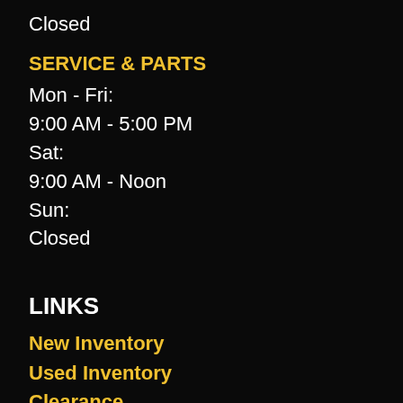Closed
SERVICE & PARTS
Mon - Fri:
9:00 AM - 5:00 PM
Sat:
9:00 AM - Noon
Sun:
Closed
LINKS
New Inventory
Used Inventory
Clearance
Specials
Trade-In
Financing
Service